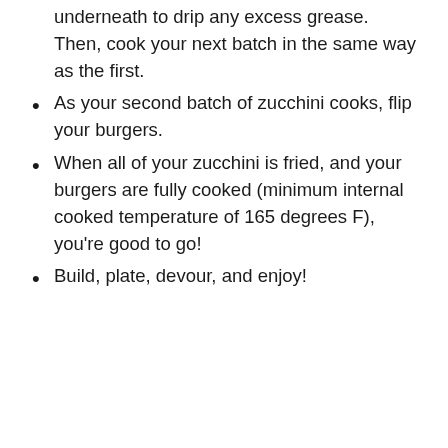underneath to drip any excess grease. Then, cook your next batch in the same way as the first.
As your second batch of zucchini cooks, flip your burgers.
When all of your zucchini is fried, and your burgers are fully cooked (minimum internal cooked temperature of 165 degrees F), you’re good to go!
Build, plate, devour, and enjoy!